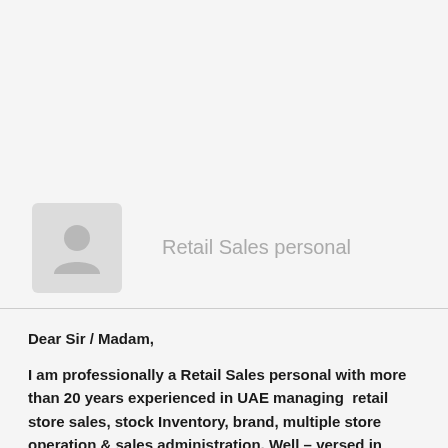[Figure (illustration): Generic user avatar placeholder image: a grey rounded square with a person silhouette icon in lighter grey]
Retail Sales personal
Dear Sir / Madam,
I am professionally a Retail Sales personal with more than 20 years experienced in UAE managing  retail store sales, stock Inventory, brand, multiple store operation & sales administration, Well – versed in directing personnel, motivate and lead a store